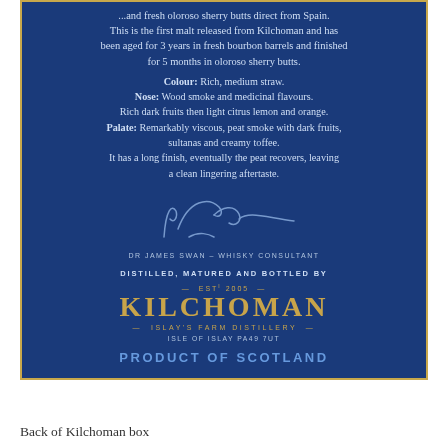[Figure (photo): Photo of the back of a Kilchoman whisky box. Dark blue background with gold border. Text describes tasting notes signed by Dr James Swan, Whisky Consultant. Bottom section features the Kilchoman distillery branding in gold with 'PRODUCT OF SCOTLAND' in blue.]
Back of Kilchoman box